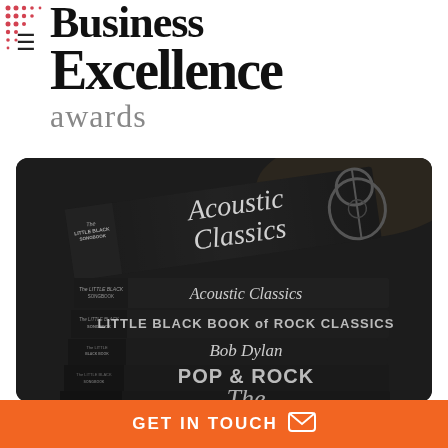[Figure (logo): Business Excellence Awards logo with red dot pattern, hamburger menu icon, and serif bold text reading 'Business Excellence awards']
[Figure (photo): Stack of black Little Black Songbook music books including 'Acoustic Classics', 'Acoustic Classics', 'The Little Black Book of Rock Classics', 'Bob Dylan', 'POP & ROCK', and 'The...' on a dark surface]
GET IN TOUCH